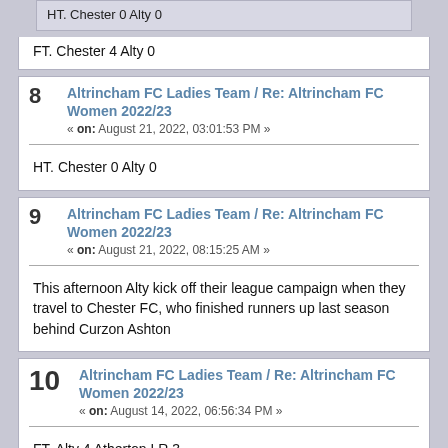HT. Chester 0 Alty 0
FT. Chester 4 Alty 0
8  Altrincham FC Ladies Team / Re: Altrincham FC Women 2022/23
« on: August 21, 2022, 03:01:53 PM »
HT. Chester 0 Alty 0
9  Altrincham FC Ladies Team / Re: Altrincham FC Women 2022/23
« on: August 21, 2022, 08:15:25 AM »
This afternoon Alty kick off their league campaign when they travel to Chester FC, who finished runners up last season behind Curzon Ashton
10  Altrincham FC Ladies Team / Re: Altrincham FC Women 2022/23
« on: August 14, 2022, 06:56:34 PM »
FT. Alty 4 Atherton LR 3.
Charlotte Higginson 2, Faye Winstanley and Stacey Cheslett with goals.
11  Altrincham FC Ladies Team / Re: Altrincham FC